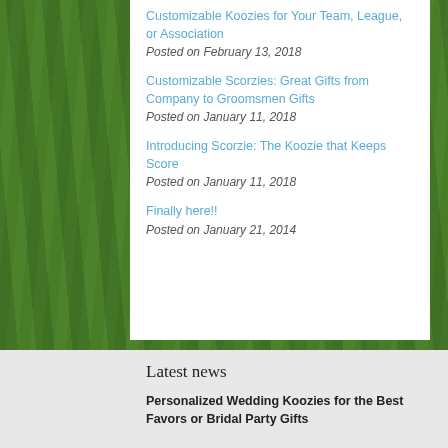Customizable Koozies for Your Team, League, or Association
Posted on February 13, 2018
Customizable Scorzies: Great Gifts from Company to Groomsmen Gifts
Posted on January 11, 2018
Introducing Scorzie: The Koozie that Keeps Score
Posted on January 11, 2018
Finally here!!
Posted on January 21, 2014
Latest news
Personalized Wedding Koozies for the Best Favors or Bridal Party Gifts